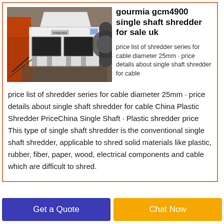[Figure (photo): Industrial single shaft shredder machine in a warehouse/factory setting, with orange and white components visible.]
gourmia gcm4900 single shaft shredder for sale uk
price list of shredder series for cable diameter 25mm · price details about single shaft shredder for cable China Plastic Shredder PriceChina Single Shaft · Plastic shredder price This type of single shaft shredder is the conventional single shaft shredder, applicable to shred solid materials like plastic, rubber, fiber, paper, wood, electrical components and cable which are difficult to shred.
Get a Quote
Chat Now